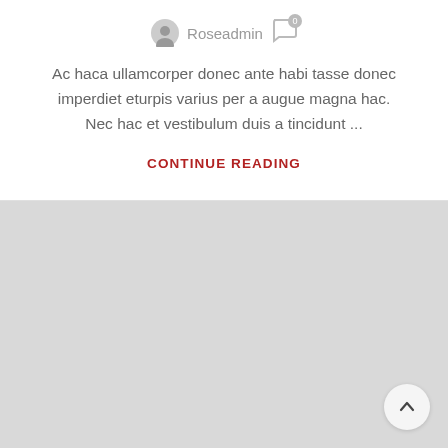Roseadmin
Ac haca ullamcorper donec ante habi tasse donec imperdiet eturpis varius per a augue magna hac. Nec hac et vestibulum duis a tincidunt ...
CONTINUE READING